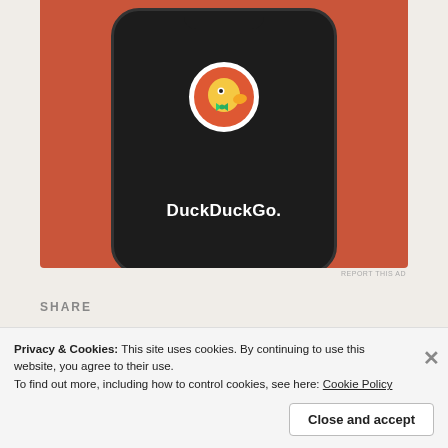[Figure (screenshot): DuckDuckGo app advertisement showing a smartphone with the DuckDuckGo logo and name on an orange background]
REPORT THIS AD
SHARE
Tweet  Share 8  Save  More
Loading...
Privacy & Cookies: This site uses cookies. By continuing to use this website, you agree to their use.
To find out more, including how to control cookies, see here: Cookie Policy
Close and accept